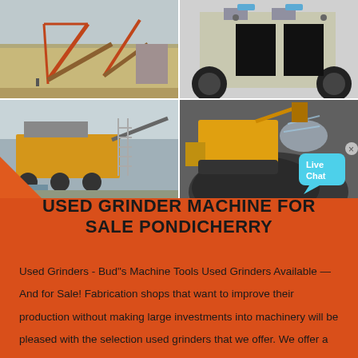[Figure (photo): Four-panel photo grid showing used grinder/crusher machines: top-left shows a large industrial conveyor/crane setup at a mining site; top-right shows a heavy-duty jaw/impact crusher machine close-up; bottom-left shows a mobile crushing/screening plant with stairs; bottom-right shows a bulldozer or heavy machine processing crushed stone material]
USED GRINDER MACHINE FOR SALE PONDICHERRY
Used Grinders - Bud"s Machine Tools Used Grinders Available — And for Sale! Fabrication shops that want to improve their production without making large investments into machinery will be pleased with the selection used grinders that we offer. We offer a full range